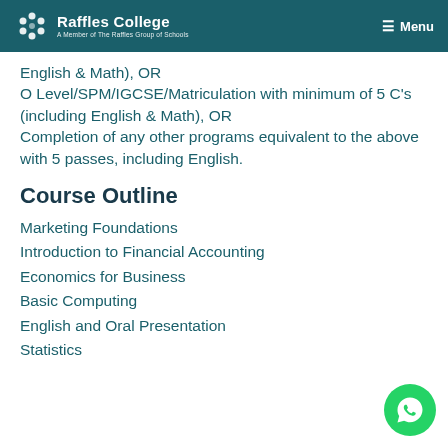Raffles College — A Member of The Raffles Group of Schools | Menu
English & Math), OR
O Level/SPM/IGCSE/Matriculation with minimum of 5 C's (including English & Math), OR
Completion of any other programs equivalent to the above with 5 passes, including English.
Course Outline
Marketing Foundations
Introduction to Financial Accounting
Economics for Business
Basic Computing
English and Oral Presentation
Statistics